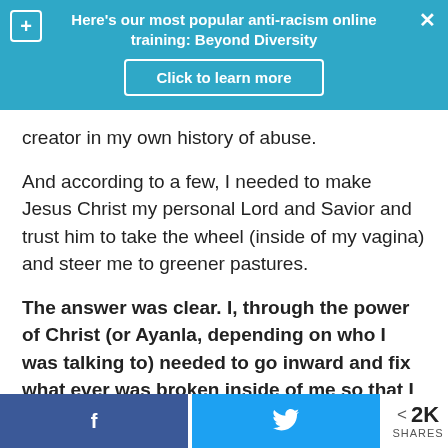Here's our most popular anti-racism online training: Beyond Diversity
Click to learn more
creator in my own history of abuse.
And according to a few, I needed to make Jesus Christ my personal Lord and Savior and trust him to take the wheel (inside of my vagina) and steer me to greener pastures.
The answer was clear. I, through the power of Christ (or Ayanla, depending on who I was talking to) needed to go inward and fix what ever was broken inside of me so that I could be a happier
f  [twitter bird]  < 2K SHARES